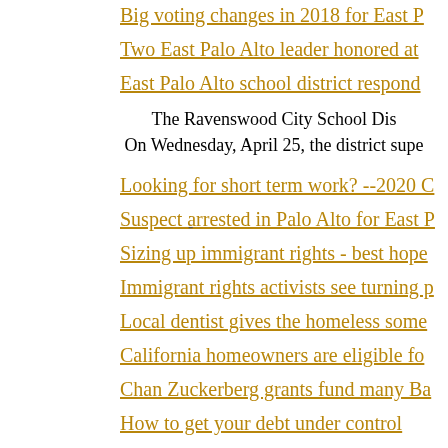Big voting changes in 2018 for East P…
Two East Palo Alto leader honored at…
East Palo Alto school district respond…
The Ravenswood City School Dis… On Wednesday, April 25, the district supe…
Looking for short term work? --2020 C…
Suspect arrested in Palo Alto for East P…
Sizing up immigrant rights - best hope…
Immigrant rights activists see turning p…
Local dentist gives the homeless some…
California homeowners are eligible fo…
Chan Zuckerberg grants fund many Ba…
How to get your debt under control
Ways to protect yourself from becomi…
East Palo Alto has new leaders to lead…
East Palo Alto: Giving thanks for "the…
USBA d…